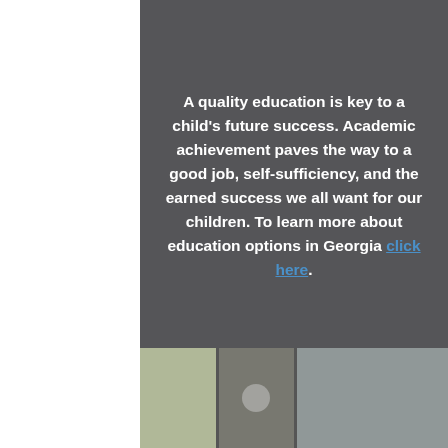A quality education is key to a child's future success. Academic achievement paves the way to a good job, self-sufficiency, and the earned success we all want for our children. To learn more about education options in Georgia click here.
[Figure (photo): Photo strip at the bottom showing what appears to be a school building exterior with windows and architectural elements]